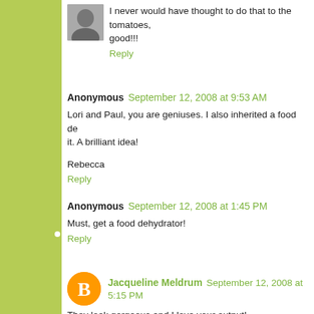[Figure (photo): Small square avatar photo of a person]
I never would have thought to do that to the tomatoes, good!!!
Reply
Anonymous September 12, 2008 at 9:53 AM
Lori and Paul, you are geniuses. I also inherited a food de it. A brilliant idea!
Rebecca
Reply
Anonymous September 12, 2008 at 1:45 PM
Must, get a food dehydrator!
Reply
Jacqueline Meldrum September 12, 2008 at 5:15 PM
They look gorgeous and I love your output!